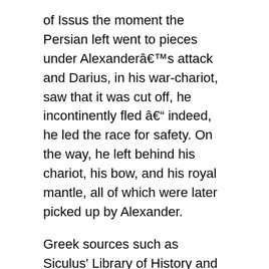of Issus the moment the Persian left went to pieces under Alexanderâ€™s attack and Darius, in his war-chariot, saw that it was cut off, he incontinently fled â€“ indeed, he led the race for safety. On the way, he left behind his chariot, his bow, and his royal mantle, all of which were later picked up by Alexander.
Greek sources such as Siculus' Library of History and Justini's Epitoma Historiarum Philippicarum recount that Darius fled out of fear at the Battle of Issus and again two years later at the Battle of Gaugamela despite commanding a larger force in a defensive position each time. At the Battle of Issus, Darius fled so far so fast, that Alexander was able to capture Dariusâ€™s headquarters, and take Dariusâ€™s family as prisoners in the process. Darius petitioned to Alexander through letters several times to get his family back, but Alexander refused to do so unless Darius would acknowledge him as the new emperor of